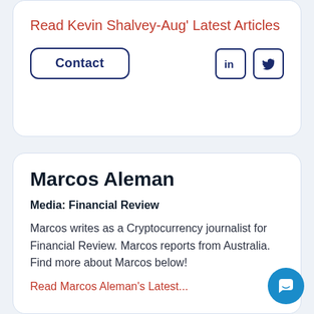Read Kevin Shalvey-Aug' Latest Articles
Contact
Marcos Aleman
Media: Financial Review
Marcos writes as a Cryptocurrency journalist for Financial Review. Marcos reports from Australia. Find more about Marcos below!
Read Marcos Aleman's Latest...